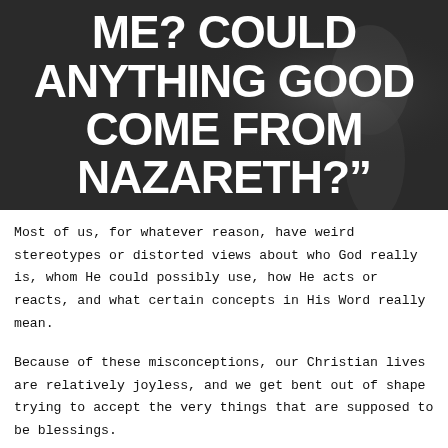[Figure (photo): Dark moody image (dark gray/black background with a subtle profile silhouette) with large bold white uppercase text: 'ME? COULD ANYTHING GOOD COME FROM NAZARETH?"']
Most of us, for whatever reason, have weird stereotypes or distorted views about who God really is, whom He could possibly use, how He acts or reacts, and what certain concepts in His Word really mean.
Because of these misconceptions, our Christian lives are relatively joyless, and we get bent out of shape trying to accept the very things that are supposed to be blessings.